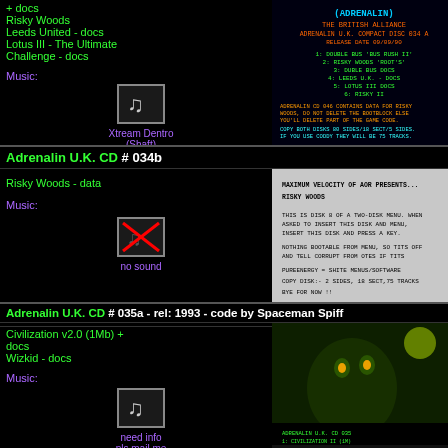+ docs
Risky Woods
Leeds United - docs
Lotus III - The Ultimate Challenge - docs
[Figure (screenshot): Music note icon for Xtream Dentro (Shaft)]
Xtream Dentro
(Shaft)
[Figure (screenshot): Adrenalin U.K. CD 034a menu screen showing game list]
Adrenalin U.K. CD # 034b
Risky Woods - data
Music:
[Figure (illustration): No sound icon - music note with red X]
no sound
[Figure (screenshot): Risky Woods disk info screen - Maximum Velocity of AOR presents]
Adrenalin U.K. CD # 035a - rel: 1993 - code by Spaceman Spiff
Civilization v2.0 (1Mb) + docs
Wizkid - docs
Music:
[Figure (illustration): Music note icon]
need info
pls mail me
[Figure (screenshot): 035a screenshot showing monster/creature art with BOLT text at bottom]